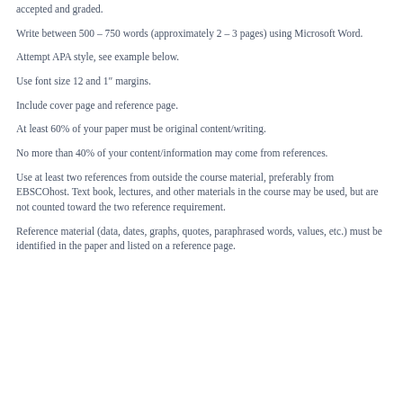accepted and graded.
Write between 500 – 750 words (approximately 2 – 3 pages) using Microsoft Word.
Attempt APA style, see example below.
Use font size 12 and 1″ margins.
Include cover page and reference page.
At least 60% of your paper must be original content/writing.
No more than 40% of your content/information may come from references.
Use at least two references from outside the course material, preferably from EBSCOhost. Text book, lectures, and other materials in the course may be used, but are not counted toward the two reference requirement.
Reference material (data, dates, graphs, quotes, paraphrased words, values, etc.) must be identified in the paper and listed on a reference page.